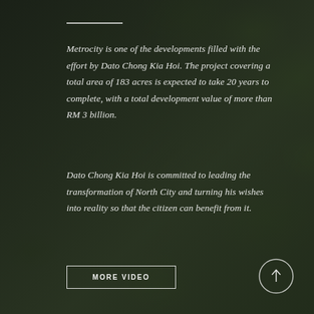[Figure (photo): Dark background photo of lush green tree foliage and building architecture partially visible, with dark overlay]
Metrocity is one of the developments filled with the effort by Dato Chong Kia Hoi. The project covering a total area of 183 acres is expected to take 20 years to complete, with a total development value of more than RM 3 billion.
Dato Chong Kia Hoi is committed to leading the transformation of North City and turning his wishes into reality so that the citizen can benefit from it.
MORE VIDEO